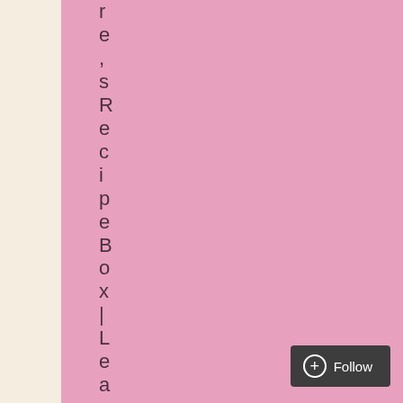r, e, ', s, R, e, c, i, p, e, B, o, x, |, L, e, a, v, e, a, c, o, m, m, e, n
[Figure (screenshot): A Follow button in dark gray at the bottom right, with a plus-circle icon and the word Follow]